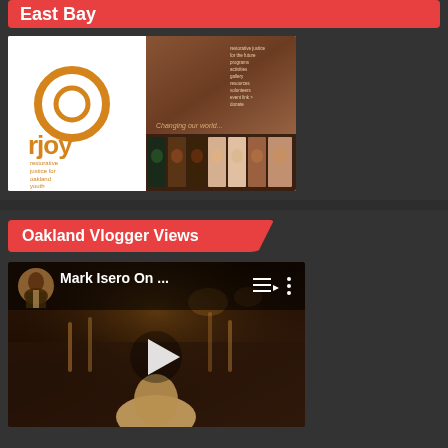East Bay
[Figure (screenshot): rJOY (Restorative Justice for Oakland Youth) website screenshot showing logo on left with circular orange design and text, and photo collage on right showing portraits and group imagery with text 'Changing our world...']
Oakland Vlogger Views
[Figure (screenshot): YouTube video thumbnail showing 'Mark Isero On ...' with a man in suit visible in upper left, play button in center, and bar/lounge scene background]